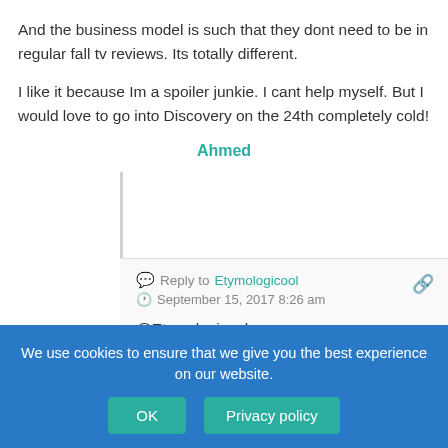And the business model is such that they dont need to be in regular fall tv reviews. Its totally different.
I like it because Im a spoiler junkie. I cant help myself. But I would love to go into Discovery on the 24th completely cold!
Ahmed
Reply to Etymologicool
September 15, 2017 8:26 am
@Etymologicool,
You provided a quote that fits with your views and neglected to post the very next paragraph that undermines it, now that’s bias.
The EW article went on to list reasons from CBS
We use cookies to ensure that we give you the best experience on our website.